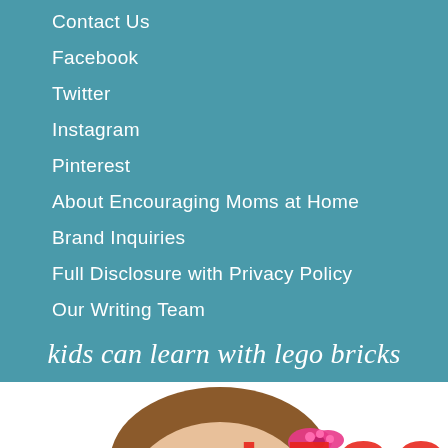Contact Us
Facebook
Twitter
Instagram
Pinterest
About Encouraging Moms at Home
Brand Inquiries
Full Disclosure with Privacy Policy
Our Writing Team
kids can learn with lego bricks
[Figure (photo): Child with pink hair bow and LEGO text overlay in red, part of a blog post image about kids learning with LEGO bricks. An ad bar with close button is at the bottom.]